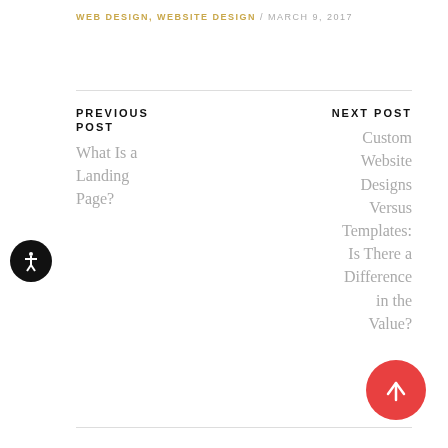WEB DESIGN, WEBSITE DESIGN / MARCH 9, 2017
PREVIOUS POST
What Is a Landing Page?
NEXT POST
Custom Website Designs Versus Templates: Is There a Difference in the Value?